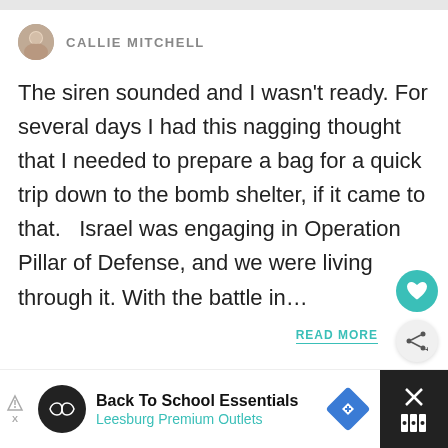CALLIE MITCHELL
The siren sounded and I wasn't ready. For several days I had this nagging thought that I needed to prepare a bag for a quick trip down to the bomb shelter, if it came to that.   Israel was engaging in Operation Pillar of Defense, and we were living through it. With the battle in…
READ MORE
[Figure (screenshot): Advertisement banner: Back To School Essentials – Leesburg Premium Outlets]